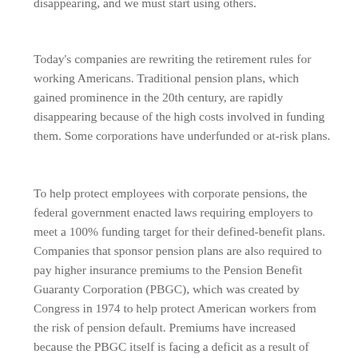disappearing, and we must start using others.
Today's companies are rewriting the retirement rules for working Americans. Traditional pension plans, which gained prominence in the 20th century, are rapidly disappearing because of the high costs involved in funding them. Some corporations have underfunded or at-risk plans.
To help protect employees with corporate pensions, the federal government enacted laws requiring employers to meet a 100% funding target for their defined-benefit plans. Companies that sponsor pension plans are also required to pay higher insurance premiums to the Pension Benefit Guaranty Corporation (PBGC), which was created by Congress in 1974 to help protect American workers from the risk of pension default. Premiums have increased because the PBGC itself is facing a deficit as a result of more companies defaulting on their pension plans.